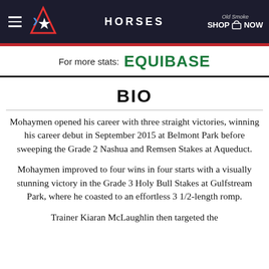HORSES
For more stats: EQUIBASE
BIO
Mohaymen opened his career with three straight victories, winning his career debut in September 2015 at Belmont Park before sweeping the Grade 2 Nashua and Remsen Stakes at Aqueduct.
Mohaymen improved to four wins in four starts with a visually stunning victory in the Grade 3 Holy Bull Stakes at Gulfstream Park, where he coasted to an effortless 3 1/2-length romp.
Trainer Kiaran McLaughlin then targeted the